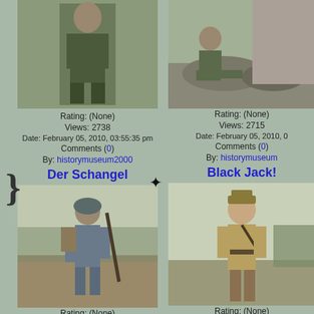[Figure (photo): Person in military uniform standing with arms crossed, holding a framed picture, outdoors]
Rating: (None)
Views: 2738
Date: February 05, 2010, 03:55:35 pm
Comments (0)
By: historymuseum2000
[Figure (photo): Person in military uniform sitting on rocks outdoors]
Rating: (None)
Views: 2715
Date: February 05, 2010, 0...
Comments (0)
By: historymuseum...
Der Schangel
[Figure (photo): Person in WWI German infantry uniform with Stahlhelm helmet carrying a rifle, outdoors in field]
Rating: (None)
Views: 2957
Date: November 08, 2009, 08:19:27 pm
Black Jack!
[Figure (photo): Person in WWI era officer uniform standing outdoors]
Rating: (None)
Views: 2762
Date: November 08, 2009...